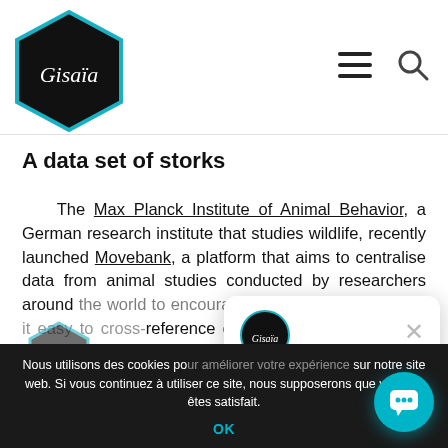Gisaia
A data set of storks
The Max Planck Institute of Animal Behavior, a German research institute that studies wildlife, recently launched Movebank, a platform that aims to centralise data from animal studies conducted by researchers around the world to encourage collaboration and make it easy to cross-reference data from different studies. The platform also aims to make the data publicly available to generate...
[Figure (screenshot): Chat popup with Gisaia logo avatar and text: Hello, want to meet with a Gisaïan for more information?]
Nous utilisons des cookies pour améliorer votre expérience sur notre site web. Si vous continuez à utiliser ce site, nous supposerons que vous en êtes satisfait.
OK